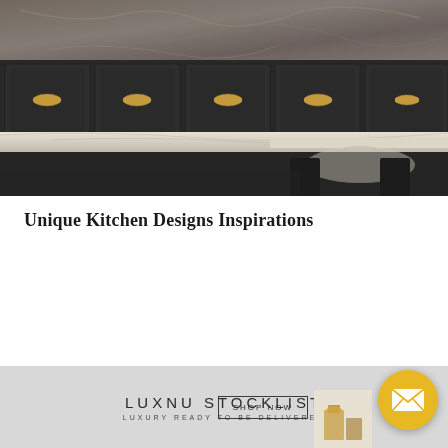[Figure (photo): Dark kitchen cabinetry with brass/gold drawer pulls, marble countertop with sculptural stone table base, marble wall backsplash]
Unique Kitchen Designs Inspirations
[Figure (infographic): Footer banner: LUXNU STOCKLIST - LUXURY READY TO BE DELIVERED - SHOP NOW button - small product image - yellow envelope circle icon]